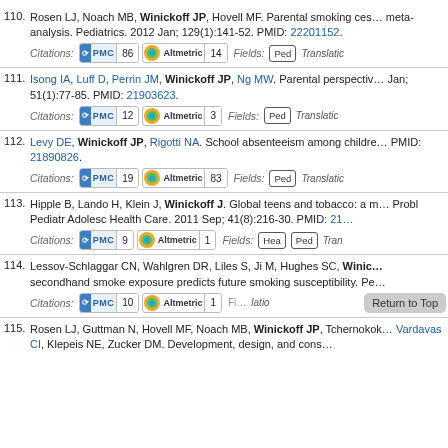110. Rosen LJ, Noach MB, Winickoff JP, Hovell MF. Parental smoking cessation to protect young children: a systematic review and meta-analysis. Pediatrics. 2012 Jan; 129(1):141-52. PMID: 22201152. Citations: PMC 86 Altmetric 14 Fields: Ped Translation
111. Isong IA, Luff D, Perrin JM, Winickoff JP, Ng MW. Parental perspectives on children's relative risks for early childhood caries. Pediatric Dentistry. 2011 Jan; 51(1):77-85. PMID: 21903623. Citations: PMC 12 Altmetric 3 Fields: Ped Translation
112. Levy DE, Winickoff JP, Rigotti NA. School absenteeism among children living with smokers. PMID: 21890826. Citations: PMC 19 Altmetric 83 Fields: Ped Translation
113. Hipple B, Lando H, Klein J, Winickoff J. Global teens and tobacco: a mixed methods study. Curr Probl Pediatr Adolesc Health Care. 2011 Sep; 41(8):216-30. PMID: 21... Citations: PMC 9 Altmetric 1 Fields: Hea Ped Tran
114. Lessov-Schlaggar CN, Wahlgren DR, Liles S, Ji M, Hughes SC, Winic... secondhand smoke exposure predicts future smoking susceptibility. Pe... Citations: PMC 10 Altmetric 1 Fields: Translation
115. Rosen LJ, Guttman N, Hovell MF, Noach MB, Winickoff JP, Tchernokov... Vardavas CI, Klepeis NE, Zucker DM. Development, design, and cons...